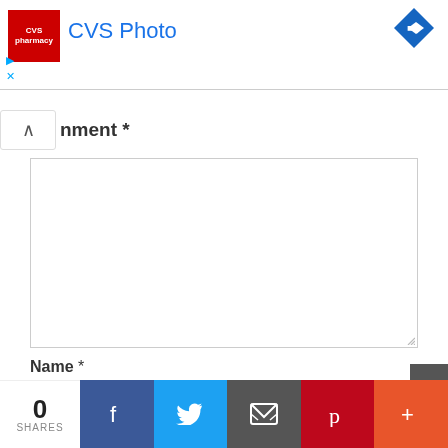[Figure (screenshot): CVS Pharmacy ad banner with red logo, 'CVS Photo' text in blue, blue diamond arrow icon top right, ad controls bottom left]
nment *
[Figure (screenshot): Comment text area input box, empty, with resize handle]
Name *
[Figure (screenshot): Name input field, empty]
Email *
[Figure (screenshot): Email input field, empty]
Website
[Figure (screenshot): Social share bar: 0 SHARES, Facebook, Twitter, Email, Pinterest, More buttons]